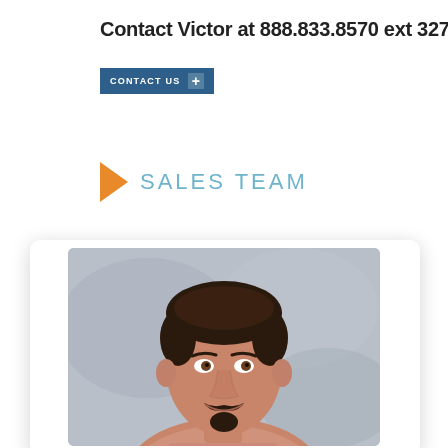Contact Victor at 888.833.8570 ext 3275
CONTACT US +
SALES TEAM
[Figure (photo): Professional headshot of a middle-aged man with dark hair and a goatee, wearing a striped shirt, against a gray background.]